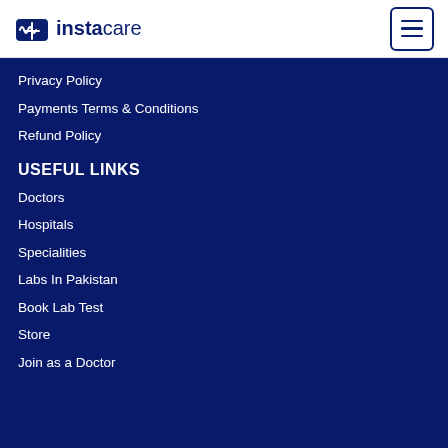instacare
Privacy Policy
Payments Terms & Conditions
Refund Policy
USEFUL LINKS
Doctors
Hospitals
Specialities
Labs In Pakistan
Book Lab Test
Store
Join as a Doctor